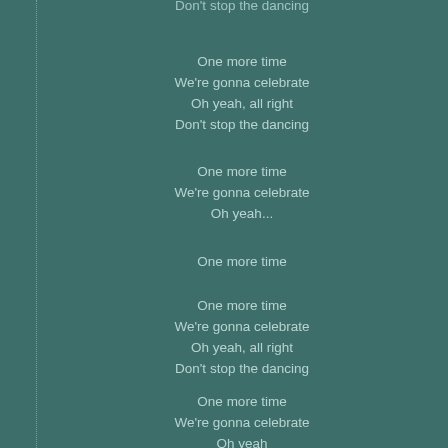Don't stop the dancing
One more time
We're gonna celebrate
Oh yeah, all right
Don't stop the dancing
One more time
We're gonna celebrate
Oh yeah...
One more time
One more time
We're gonna celebrate
Oh yeah, all right
Don't stop the dancing
One more time
We're gonna celebrate
Oh yeah
Don't stop the dancing
One more time